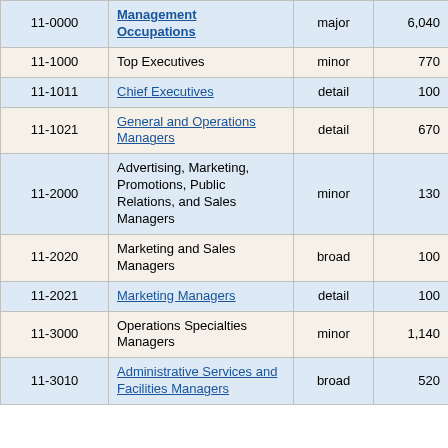| Code | Occupation | Level | Count | Rate |
| --- | --- | --- | --- | --- |
| 11-0000 | Management Occupations | major | 6,040 | 2.7 |
| 11-1000 | Top Executives | minor | 770 | 3.8 |
| 11-1011 | Chief Executives | detail | 100 | 7.3 |
| 11-1021 | General and Operations Managers | detail | 670 | 4.1 |
| 11-2000 | Advertising, Marketing, Promotions, Public Relations, and Sales Managers | minor | 130 | 5.5 |
| 11-2020 | Marketing and Sales Managers | broad | 100 | 6.5 |
| 11-2021 | Marketing Managers | detail | 100 | 6.7 |
| 11-3000 | Operations Specialties Managers | minor | 1,140 | 5.3 |
| 11-3010 | Administrative Services and Facilities Managers | broad | 520 | 5.4 |